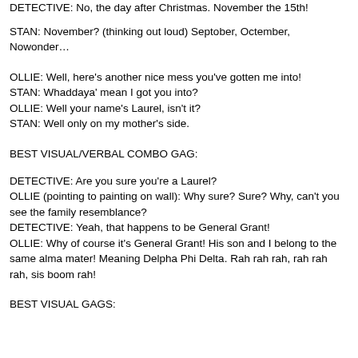DETECTIVE: No, the day after Christmas. November the 15th!
STAN: November? (thinking out loud) Septober, Octember, Nowonder…
OLLIE: Well, here's another nice mess you've gotten me into!
STAN: Whaddaya' mean I got you into?
OLLIE: Well your name's Laurel, isn't it?
STAN: Well only on my mother's side.
BEST VISUAL/VERBAL COMBO GAG:
DETECTIVE: Are you sure you're a Laurel?
OLLIE (pointing to painting on wall): Why sure? Sure? Why, can't you see the family resemblance?
DETECTIVE: Yeah, that happens to be General Grant!
OLLIE: Why of course it's General Grant! His son and I belong to the same alma mater! Meaning Delpha Phi Delta. Rah rah rah, rah rah rah, sis boom rah!
BEST VISUAL GAGS: